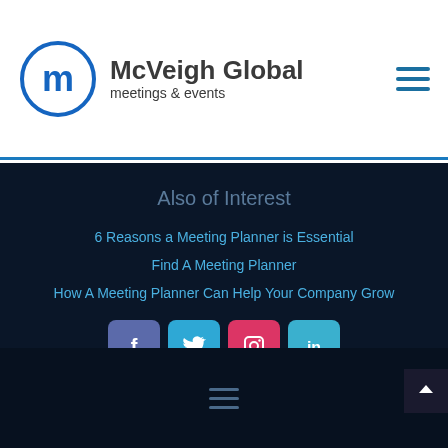McVeigh Global meetings & events
Also of Interest
6 Reasons a Meeting Planner is Essential
Find A Meeting Planner
How A Meeting Planner Can Help Your Company Grow
[Figure (other): Social media icons: Facebook, Twitter, Instagram, LinkedIn]